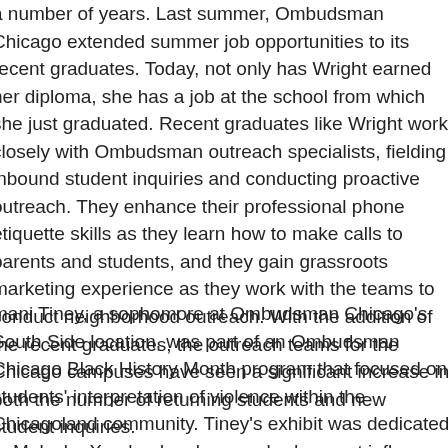a number of years. Last summer, Ombudsman Chicago extended summer job opportunities to its recent graduates. Today, not only has Wright earned her diploma, she has a job at the school from which she just graduated. Recent graduates like Wright work closely with Ombudsman outreach specialists, fielding inbound student inquiries and conducting proactive outreach. They enhance their professional phone etiquette skills as they learn how to make calls to parents and students, and they gain grassroots marketing experience as they work with the teams to conduct neighborhood outreach. With the addition of the recent graduates, the outreach teams for the Chicago campuses have seen a significant increase in both the number of returning students and new student inquiries.
mani Tiney, a sophomore at Ombudsman Chicago's South Side location, was part of an Ombudsman Chicago Black History Month program that focused on students' interpretation of violence within the Chicagoland community. Tiney's exhibit was dedicated to Malcolm X, a leader she says had a great influence on her life. "Malcolm overcame a lot," says Tiney, who was